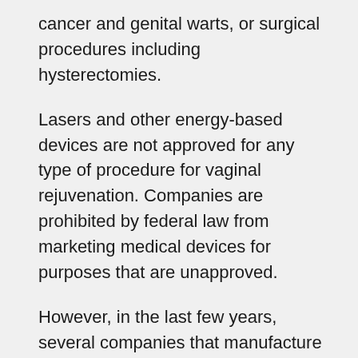cancer and genital warts, or surgical procedures including hysterectomies.
Lasers and other energy-based devices are not approved for any type of procedure for vaginal rejuvenation. Companies are prohibited by federal law from marketing medical devices for purposes that are unapproved.
However, in the last few years, several companies that manufacture these kinds of devices have left no stone unturned in heavily promoting the use of lasers for symptoms that are related to menopause, vaginal atrophy, sexual function and urinary incontinence.
On top of this, laser and other energy-based f...